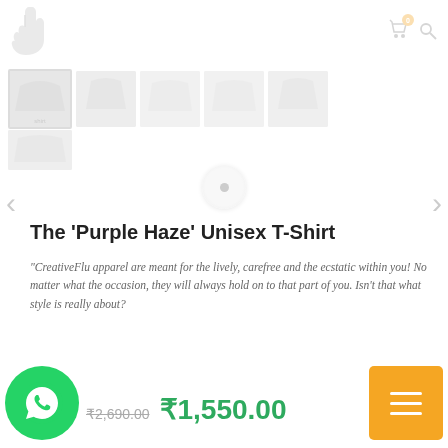CreativeFlu — logo and navigation header
[Figure (screenshot): Thumbnail strip showing 5 product images of a t-shirt in faded/muted tones, plus a partial second row thumbnail]
The 'Purple Haze' Unisex T-Shirt
“CreativeFlu apparel are meant for the lively, carefree and the ecstatic within you! No matter what the occasion, they will always hold on to that part of you. Isn’t that what style is really about?
more
[Figure (logo): WhatsApp floating action button (green circle with phone icon)]
[Figure (other): Orange hamburger/menu button (bottom right corner)]
₹2,690.00  ₹1,550.00